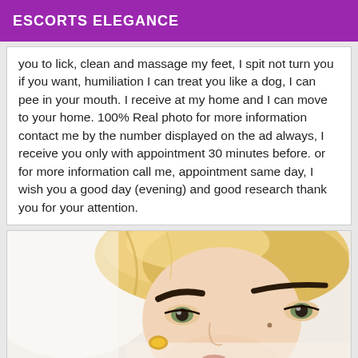ESCORTS ELEGANCE
you to lick, clean and massage my feet, I spit not turn you if you want, humiliation I can treat you like a dog, I can pee in your mouth. I receive at my home and I can move to your home. 100% Real photo for more information contact me by the number displayed on the ad always, I receive you only with appointment 30 minutes before. or for more information call me, appointment same day, I wish you a good day (evening) and good research thank you for your attention.
[Figure (photo): Close-up photo of a blonde woman with short hair, thick eyebrows, wearing a gold earring, looking at camera]